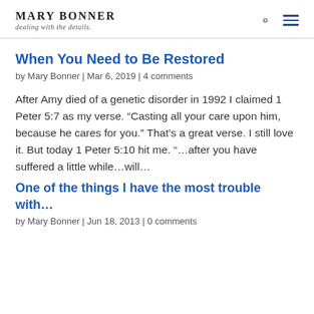MARY BONNER dealing with the details.
When You Need to Be Restored
by Mary Bonner | Mar 6, 2019 | 4 comments
After Amy died of a genetic disorder in 1992 I claimed 1 Peter 5:7 as my verse. “Casting all your care upon him, because he cares for you.” That’s a great verse. I still love it. But today 1 Peter 5:10 hit me. “…after you have suffered a little while…will…
One of the things I have the most trouble with…
by Mary Bonner | Jun 18, 2013 | 0 comments